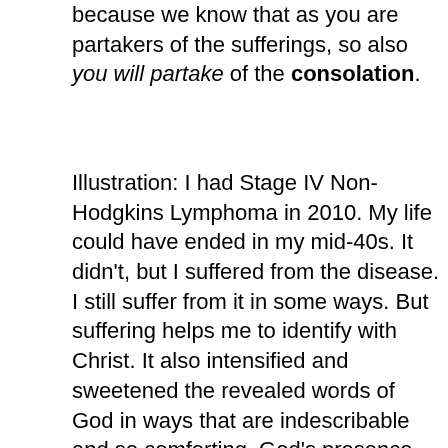because we know that as you are partakers of the sufferings, so also you will partake of the consolation.
Illustration: I had Stage IV Non-Hodgkins Lymphoma in 2010. My life could have ended in my mid-40s. It didn't, but I suffered from the disease. I still suffer from it in some ways. But suffering helps me to identify with Christ. It also intensified and sweetened the revealed words of God in ways that are indescribable and so comforting. God's presence was so real and special to me.
God comforted me by lighting up and energizing His Word. My illness drove me to pray like I never have. It motivated others to go to the throne of grace for me. It brought me back to a place of unreserved obedience and humility. It developed patience and endurance in me. It matured me. It